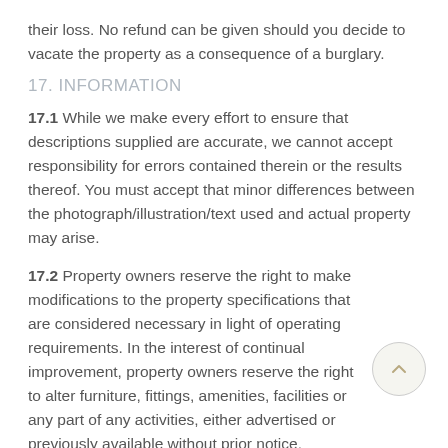their loss. No refund can be given should you decide to vacate the property as a consequence of a burglary.
17. INFORMATION
17.1 While we make every effort to ensure that descriptions supplied are accurate, we cannot accept responsibility for errors contained therein or the results thereof. You must accept that minor differences between the photograph/illustration/text used and actual property may arise.
17.2 Property owners reserve the right to make modifications to the property specifications that are considered necessary in light of operating requirements. In the interest of continual improvement, property owners reserve the right to alter furniture, fittings, amenities, facilities or any part of any activities, either advertised or previously available without prior notice.